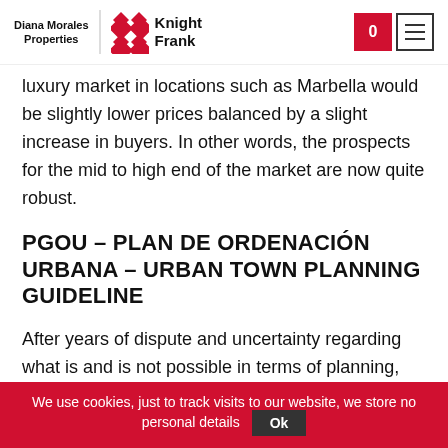Diana Morales Properties | Knight Frank
luxury market in locations such as Marbella would be slightly lower prices balanced by a slight increase in buyers. In other words, the prospects for the mid to high end of the market are now quite robust.
PGOU – PLAN DE ORDENACIÓN URBANA – URBAN TOWN PLANNING GUIDELINE
After years of dispute and uncertainty regarding what is and is not possible in terms of planning, zoning and
We use cookies, just to track visits to our website, we store no personal details Ok